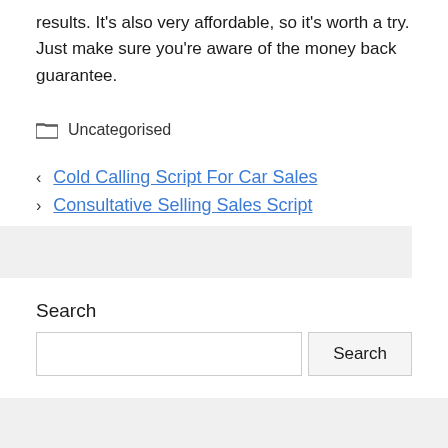results. It's also very affordable, so it's worth a try. Just make sure you're aware of the money back guarantee.
Uncategorised
Cold Calling Script For Car Sales
Consultative Selling Sales Script
Search
Recent Posts